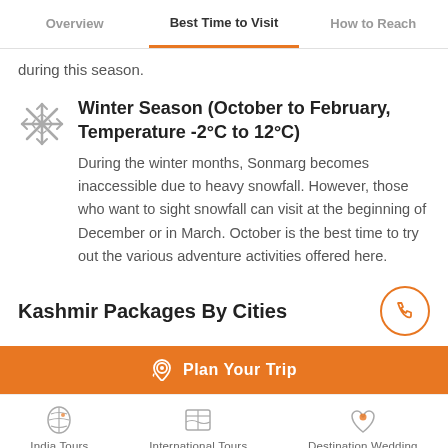Overview | Best Time to Visit | How to Reach
during this season.
Winter Season (October to February, Temperature -2°C to 12°C)
During the winter months, Sonmarg becomes inaccessible due to heavy snowfall. However, those who want to sight snowfall can visit at the beginning of December or in March. October is the best time to try out the various adventure activities offered here.
Kashmir Packages By Cities
Plan Your Trip
India Tours | International Tours | Destination Wedding